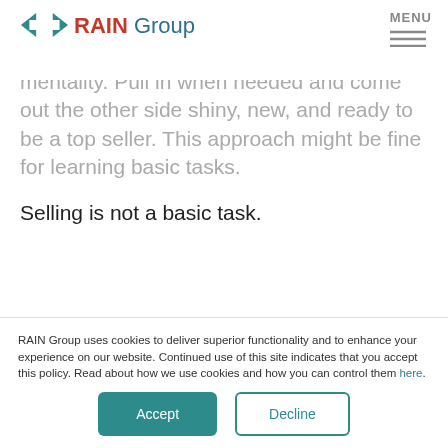RAIN Group — MENU
mentality. Pull in when needed and come out the other side shiny, new, and ready to be a top seller. This approach might be fine for learning basic tasks.
Selling is not a basic task.
Not only is there a large body of sophisticated skills and knowledge to master, but sales training often involves changing the behavior of adults who are set in their ways.
RAIN Group uses cookies to deliver superior functionality and to enhance your experience on our website. Continued use of this site indicates that you accept this policy. Read about how we use cookies and how you can control them here.
Accept
Decline